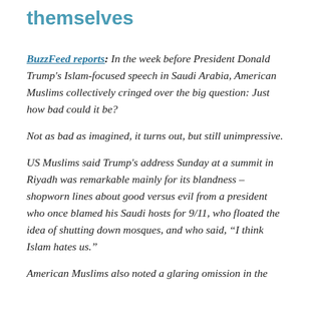themselves
BuzzFeed reports: In the week before President Donald Trump's Islam-focused speech in Saudi Arabia, American Muslims collectively cringed over the big question: Just how bad could it be?
Not as bad as imagined, it turns out, but still unimpressive.
US Muslims said Trump's address Sunday at a summit in Riyadh was remarkable mainly for its blandness – shopworn lines about good versus evil from a president who once blamed his Saudi hosts for 9/11, who floated the idea of shutting down mosques, and who said, “I think Islam hates us.”
American Muslims also noted a glaring omission in the